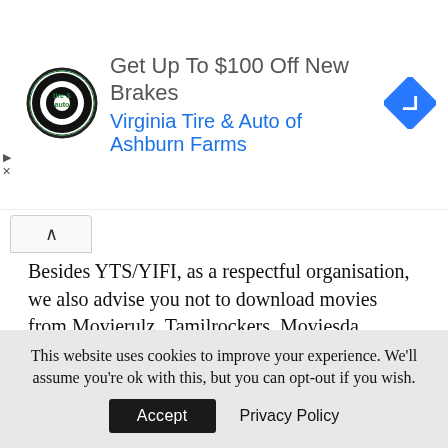[Figure (infographic): Advertisement banner for Virginia Tire & Auto of Ashburn Farms. Shows circular tire & auto logo, text 'Get Up To $100 Off New Brakes' and 'Virginia Tire & Auto of Ashburn Farms', and a blue diamond navigation arrow icon.]
Besides YTS/YIFI, as a respectful organisation, we also advise you not to download movies from Movierulz, Tamilrockers, Moviesda, Madrasrockers, Filmywap, Khatrimaza, Jio rockers and Tamil Gun. Yes, these websites might provide all genres of movies in 720 or 1080 HD quality, but illegal is illegal.
This website uses cookies to improve your experience. We'll assume you're ok with this, but you can opt-out if you wish.
Accept   Privacy Policy